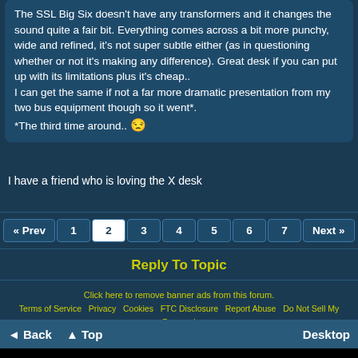The SSL Big Six doesn't have any transformers and it changes the sound quite a fair bit. Everything comes across a bit more punchy, wide and refined, it's not super subtle either (as in questioning whether or not it's making any difference). Great desk if you can put up with its limitations plus it's cheap..

I can get the same if not a far more dramatic presentation from my two bus equipment though so it went*.

*The third time around.. 😒
I have a friend who is loving the X desk
« Prev  1  2  3  4  5  6  7  Next »
Reply To Topic
Click here to remove banner ads from this forum.
Terms of Service  Privacy  Cookies  FTC Disclosure  Report Abuse  Do Not Sell My Personal Information
◄ Back  ▲ Top  Desktop